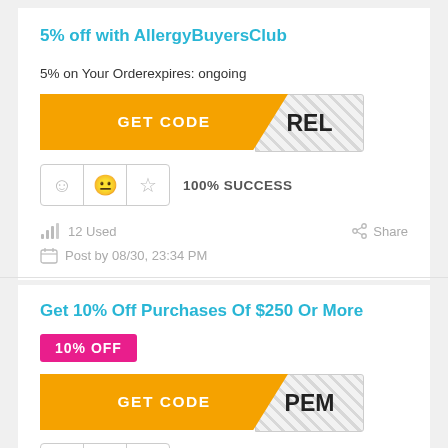5% off with AllergyBuyersClub
5% on Your Orderexpires: ongoing
[Figure (infographic): Orange GET CODE button with diagonal cut revealing a hatched area showing text 'REL']
[Figure (infographic): Rating row with smiley face, neutral face, star icons in a bordered box, followed by '100% SUCCESS' text]
12 Used
Share
Post by 08/30, 23:34 PM
Get 10% Off Purchases Of $250 Or More
10% OFF
[Figure (infographic): Orange GET CODE button with diagonal cut revealing hatched area showing text 'PEM']
[Figure (infographic): Rating row with smiley face, neutral face, star icons in bordered box, followed by '100% SUCCESS' text]